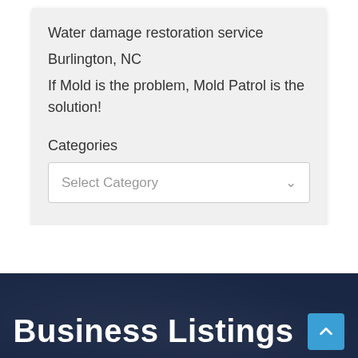Water damage restoration service
Burlington, NC
If Mold is the problem, Mold Patrol is the solution!
Categories
[Figure (screenshot): Dropdown select box with placeholder text 'Select Category' and a chevron arrow]
Business Listings